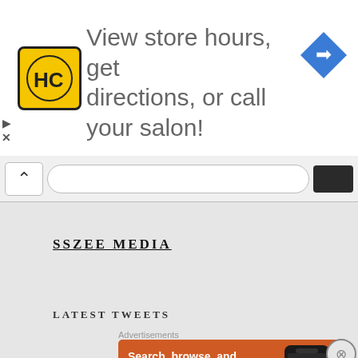[Figure (infographic): Top advertisement banner: HC Salon logo (yellow square with HC letters), text 'View store hours, get directions, or call your salon!', blue diamond directions icon on the right]
[Figure (screenshot): Browser toolbar with chevron up button, search/URL input bar, and dark button on the right]
SSZEE MEDIA
LATEST TWEETS
Advertisements
[Figure (infographic): DuckDuckGo advertisement: orange background, text 'Search, browse, and email with more privacy. All in One Free App', DuckDuckGo logo and phone on right]